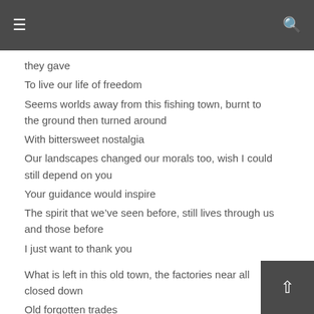≡  🔍
they gave
To live our life of freedom
Seems worlds away from this fishing town, burnt to the ground then turned around
With bittersweet nostalgia
Our landscapes changed our morals too, wish I could still depend on you
Your guidance would inspire
The spirit that we've seen before, still lives through us and those before
I just want to thank you
What is left in this old town, the factories near all closed down
Old forgotten trades
Remember them if you can, we're grandchildren of the fishermen